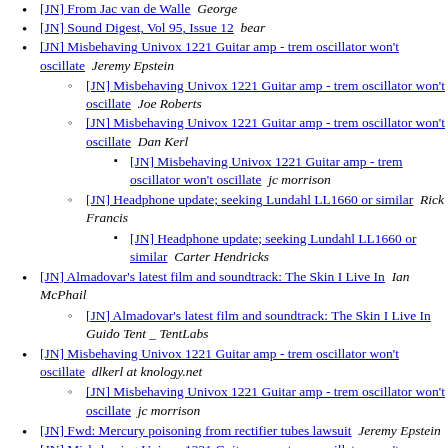[JN] From Jac van de Walle  George
[JN] Sound Digest, Vol 95, Issue 12  bear
[JN] Misbehaving Univox 1221 Guitar amp - trem oscillator won't oscillate  Jeremy Epstein
[JN] Misbehaving Univox 1221 Guitar amp - trem oscillator won't oscillate  Joe Roberts
[JN] Misbehaving Univox 1221 Guitar amp - trem oscillator won't oscillate  Dan Kerl
[JN] Misbehaving Univox 1221 Guitar amp - trem oscillator won't oscillate  jc morrison
[JN] Headphone update; seeking Lundahl LL1660 or similar  Rick Francis
[JN] Headphone update; seeking Lundahl LL1660 or similar  Carter Hendricks
[JN] Almadovar's latest film and soundtrack: The Skin I Live In  Ian McPhail
[JN] Almadovar's latest film and soundtrack: The Skin I Live In  Guido Tent _ TentLabs
[JN] Misbehaving Univox 1221 Guitar amp - trem oscillator won't oscillate  dlkerl at knology.net
[JN] Misbehaving Univox 1221 Guitar amp - trem oscillator won't oscillate  jc morrison
[JN] Fwd: Mercury poisoning from rectifier tubes lawsuit  Jeremy Epstein
[JN] Misbehaving Univox 1221 Guitar amp - trem oscillator won't oscillate  Jeremy Epstein